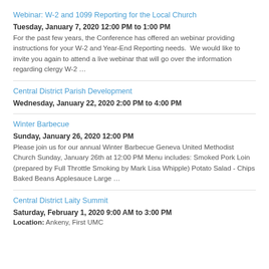Webinar: W-2 and 1099 Reporting for the Local Church
Tuesday, January 7, 2020 12:00 PM to 1:00 PM
For the past few years, the Conference has offered an webinar providing instructions for your W-2 and Year-End Reporting needs.  We would like to invite you again to attend a live webinar that will go over the information regarding clergy W-2 …
Central District Parish Development
Wednesday, January 22, 2020 2:00 PM to 4:00 PM
Winter Barbecue
Sunday, January 26, 2020 12:00 PM
Please join us for our annual Winter Barbecue Geneva United Methodist Church Sunday, January 26th at 12:00 PM Menu includes: Smoked Pork Loin (prepared by Full Throttle Smoking by Mark Lisa Whipple) Potato Salad - Chips Baked Beans Applesauce Large …
Central District Laity Summit
Saturday, February 1, 2020 9:00 AM to 3:00 PM
Location: Ankeny, First UMC